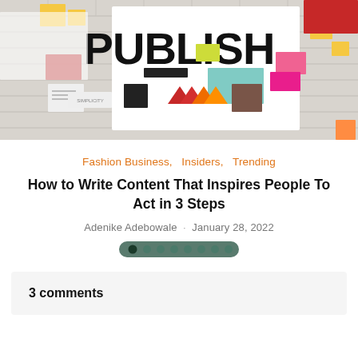[Figure (photo): Hero image of a mood board / inspiration wall with colorful sticky notes, papers, and large bold text 'PUBLISH' in black on a brick-textured white wall background]
Fashion Business,   Insiders,   Trending
How to Write Content That Inspires People To Act in 3 Steps
Adenike Adebowale · January 28, 2022
[Figure (other): Navigation dots row: 8 circles in dark teal/green colors, first dot darkest (active)]
3 comments